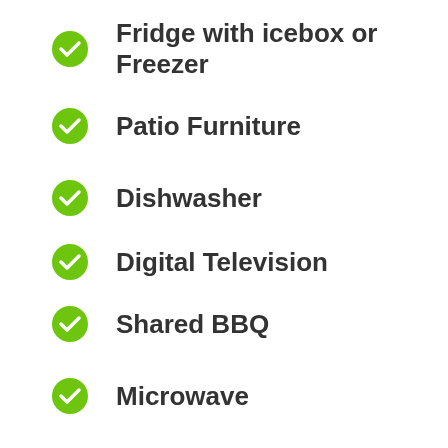Fridge with icebox or Freezer
Patio Furniture
Dishwasher
Digital Television
Shared BBQ
Microwave